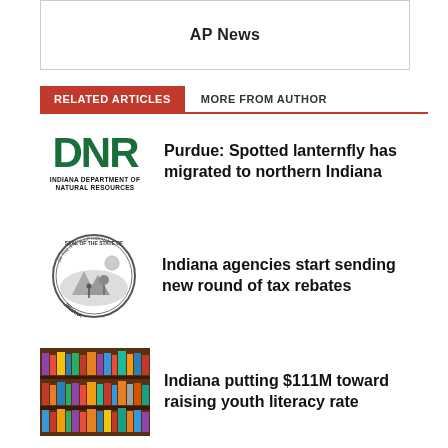AP News
RELATED ARTICLES
MORE FROM AUTHOR
Purdue: Spotted lanternfly has migrated to northern Indiana
Indiana agencies start sending new round of tax rebates
Indiana putting $111M toward raising youth literacy rate